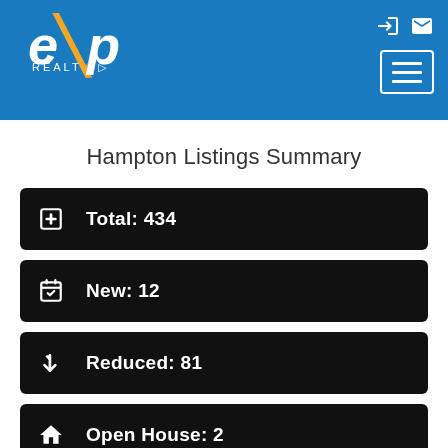eXp Realty
Hampton Listings Summary
Total: 434
New: 12
Reduced: 81
Open House: 2